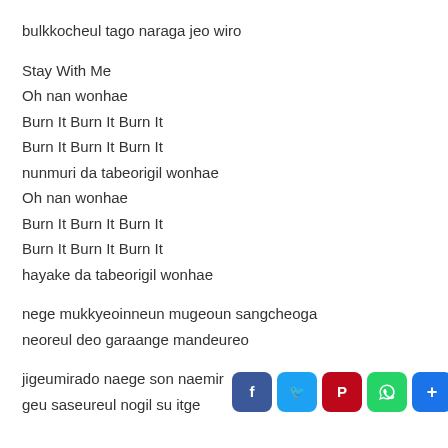bulkkocheul tago naraga jeo wiro
Stay With Me
Oh nan wonhae
Burn It Burn It Burn It
Burn It Burn It Burn It
nunmuri da tabeorigil wonhae
Oh nan wonhae
Burn It Burn It Burn It
Burn It Burn It Burn It
hayake da tabeorigil wonhae
nege mukkyeoinneun mugeoun sangcheoga
neoreul deo garaange mandeureo
jigeumirado naege son naemir
geu saseureul nogil su itge